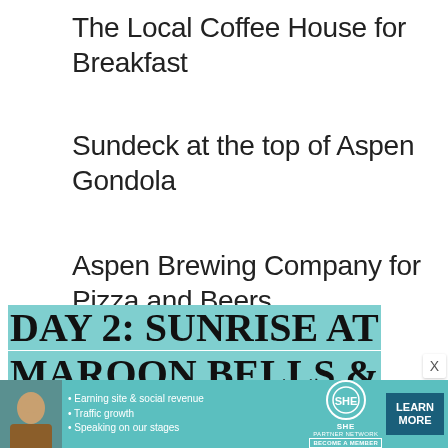The Local Coffee House for Breakfast
Sundeck at the top of Aspen Gondola
Aspen Brewing Company for Pizza and Beers
DAY 2: SUNRISE AT MAROON BELLS &
INDEPENDENCE PASS
[Figure (infographic): Advertisement banner for SHE Partner Network showing a woman, bullet points about earning site & social revenue, traffic growth, speaking on stages, SHE logo, and a Learn More button]